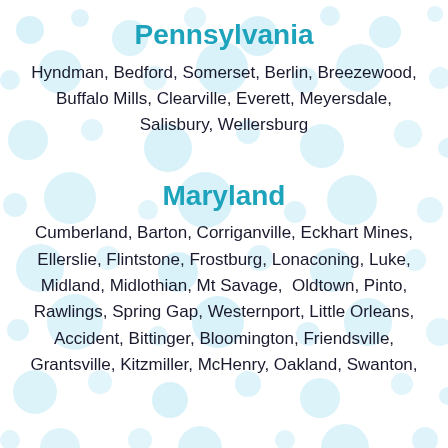Pennsylvania
Hyndman, Bedford, Somerset, Berlin, Breezewood, Buffalo Mills, Clearville, Everett, Meyersdale, Salisbury, Wellersburg
Maryland
Cumberland, Barton, Corriganville, Eckhart Mines, Ellerslie, Flintstone, Frostburg, Lonaconing, Luke, Midland, Midlothian, Mt Savage, Oldtown, Pinto, Rawlings, Spring Gap, Westernport, Little Orleans, Accident, Bittinger, Bloomington, Friendsville, Grantsville, Kitzmiller, McHenry, Oakland, Swanton,